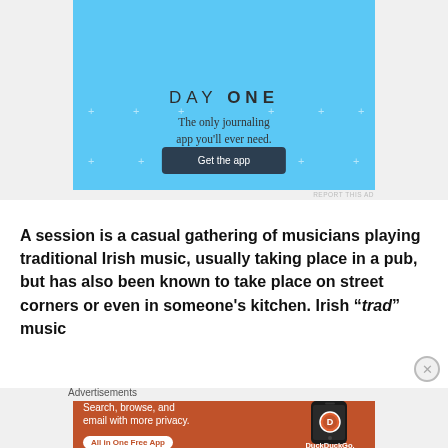[Figure (illustration): Day One journaling app advertisement with blue background, showing app icon imagery, title 'DAY ONE', tagline 'The only journaling app you'll ever need.' and a dark 'Get the app' button]
REPORT THIS AD
A session is a casual gathering of musicians playing traditional Irish music, usually taking place in a pub, but has also been known to take place on street corners or even in someone’s kitchen. Irish “trad” music
Advertisements
[Figure (illustration): DuckDuckGo advertisement with orange/brown background showing 'Search, browse, and email with more privacy. All in One Free App' text on left and DuckDuckGo app icon with phone mockup on right]